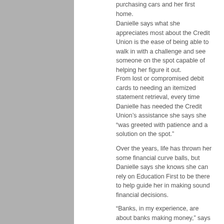purchasing cars and her first home.
Danielle says what she appreciates most about the Credit Union is the ease of being able to walk in with a challenge and see someone on the spot capable of helping her figure it out.
From lost or compromised debit cards to needing an itemized statement retrieval, every time Danielle has needed the Credit Union's assistance she says she “was greeted with patience and a solution on the spot.”
Over the years, life has thrown her some financial curve balls, but Danielle says she knows she can rely on Education First to be there to help guide her in making sound financial decisions.
“Banks, in my experience, are about banks making money,” says Danielle. “My credit